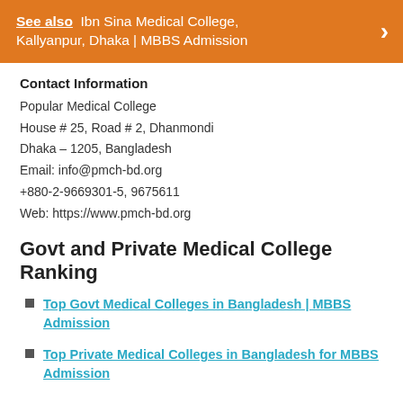[Figure (infographic): Orange banner with 'See also Ibn Sina Medical College, Kallyanpur, Dhaka | MBBS Admission' and a right-arrow icon]
Contact Information
Popular Medical College
House # 25, Road # 2, Dhanmondi
Dhaka – 1205, Bangladesh
Email: info@pmch-bd.org
+880-2-9669301-5, 9675611
Web: https://www.pmch-bd.org
Govt and Private Medical College Ranking
Top Govt Medical Colleges in Bangladesh | MBBS Admission
Top Private Medical Colleges in Bangladesh for MBBS Admission